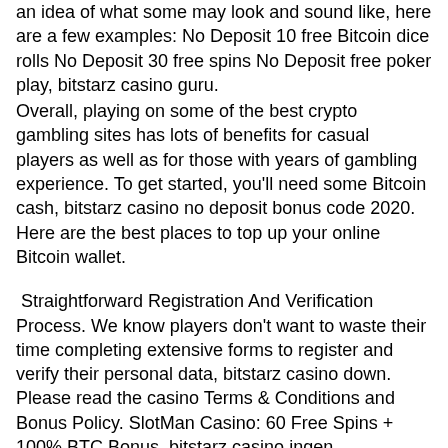an idea of what some may look and sound like, here are a few examples: No Deposit 10 free Bitcoin dice rolls No Deposit 30 free spins No Deposit free poker play, bitstarz casino guru.
Overall, playing on some of the best crypto gambling sites has lots of benefits for casual players as well as for those with years of gambling experience. To get started, you'll need some Bitcoin cash, bitstarz casino no deposit bonus code 2020. Here are the best places to top up your online Bitcoin wallet.
Straightforward Registration And Verification Process. We know players don't want to waste their time completing extensive forms to register and verify their personal data, bitstarz casino down. Please read the casino Terms & Conditions and Bonus Policy. SlotMan Casino: 60 Free Spins + 100% BTC Bonus, bitstarz casino ingen innskuddsbonus 2021. Number of Casinos